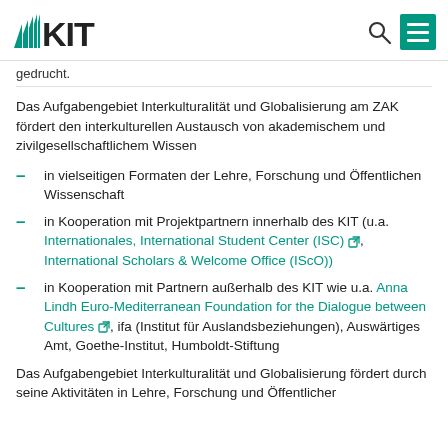KIT logo with search and menu icons
gedrucht.
Das Aufgabengebiet Interkulturalität und Globalisierung am ZAK fördert den interkulturellen Austausch von akademischem und zivilgesellschaftlichem Wissen
in vielseitigen Formaten der Lehre, Forschung und Öffentlichen Wissenschaft
in Kooperation mit Projektpartnern innerhalb des KIT (u.a. Internationales, International Student Center (ISC), International Scholars & Welcome Office (IScO))
in Kooperation mit Partnern außerhalb des KIT wie u.a. Anna Lindh Euro-Mediterranean Foundation for the Dialogue between Cultures, ifa (Institut für Auslandsbeziehungen), Auswärtiges Amt, Goethe-Institut, Humboldt-Stiftung
Das Aufgabengebiet Interkulturalität und Globalisierung fördert durch seine Aktivitäten in Lehre, Forschung und Öffentlicher